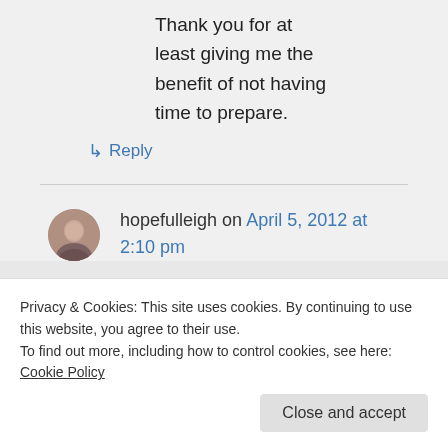Thank you for at least giving me the benefit of not having time to prepare.
↳ Reply
hopefulleigh on April 5, 2012 at 2:10 pm
Privacy & Cookies: This site uses cookies. By continuing to use this website, you agree to their use.
To find out more, including how to control cookies, see here: Cookie Policy
Close and accept